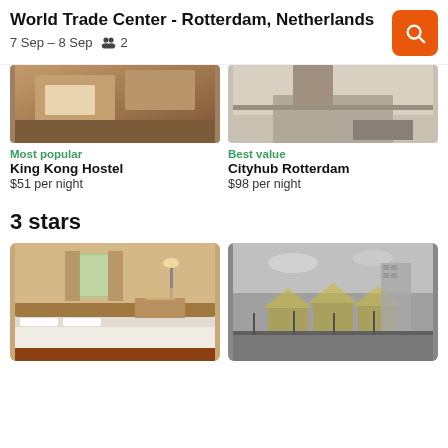World Trade Center - Rotterdam, Netherlands
7 Sep – 8 Sep   2
Most popular
King Kong Hostel
$51 per night
Best value
Cityhub Rotterdam
$98 per night
3 stars
[Figure (photo): Hotel room interior with large white bed, warm lighting, curtains and desk in background]
[Figure (photo): Exterior black and white photo of Rotterdam cube houses and surrounding architecture]